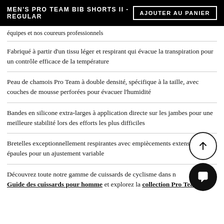MEN'S PRO TEAM BIB SHORTS II - REGULAR | AJOUTER AU PANIER
équipes et nos coureurs professionnels
Fabriqué à partir d'un tissu léger et respirant qui évacue la transpiration pour un contrôle efficace de la température
Peau de chamois Pro Team à double densité, spécifique à la taille, avec couches de mousse perforées pour évacuer l'humidité
Bandes en silicone extra-larges à application directe sur les jambes pour une meilleure stabilité lors des efforts les plus difficiles
Bretelles exceptionnellement respirantes avec empiècements extensibles aux épaules pour un ajustement variable
Découvrez toute notre gamme de cuissards de cyclisme dans notre Guide des cuissards pour homme et explorez la collection Pro Team